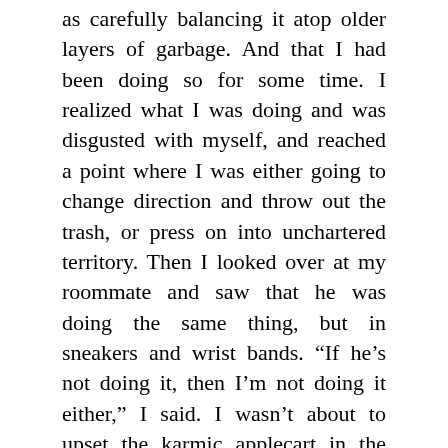as carefully balancing it atop older layers of garbage. And that I had been doing so for some time. I realized what I was doing and was disgusted with myself, and reached a point where I was either going to change direction and throw out the trash, or press on into unchartered territory. Then I looked over at my roommate and saw that he was doing the same thing, but in sneakers and wrist bands. “If he’s not doing it, then I’m not doing it either,” I said. I wasn’t about to upset the karmic applecart in the room.
By Halloween our garbage piles had reached ghoulish proportions. Mine was already beyond the top of my computer monitor, and by merely scanning the midsection of the mound I could review the last few weeks of my life. It was a kind of journal, and by